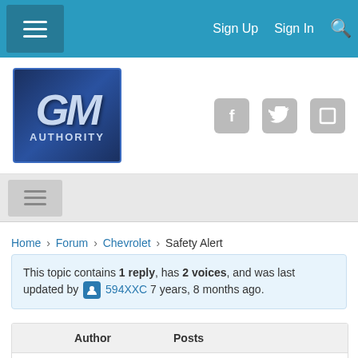Sign Up  Sign In
[Figure (logo): GM Authority logo - blue square with GM lettering and Authority text]
Home › Forum › Chevrolet › Safety Alert
This topic contains 1 reply, has 2 voices, and was last updated by 594XXC 7 years, 8 months ago.
| Author | Posts |
| --- | --- |
| December 16, 2014 at 1 | #80204 |
December 16, 2014 at 1